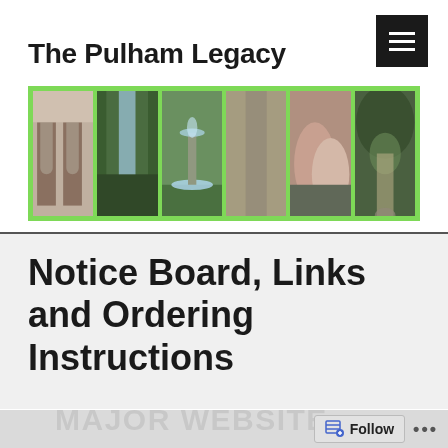The Pulham Legacy
[Figure (photo): Banner with six garden photographs on a green background: architectural arches, waterfall, fountain, rockery path, rock formations, and tree tunnel]
Notice Board, Links and Ordering Instructions
MAJOR WEBSITE
Follow ...